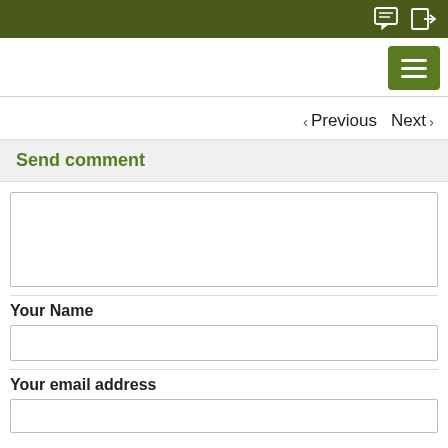< Previous   Next >
Send comment
Your Name
Your email address